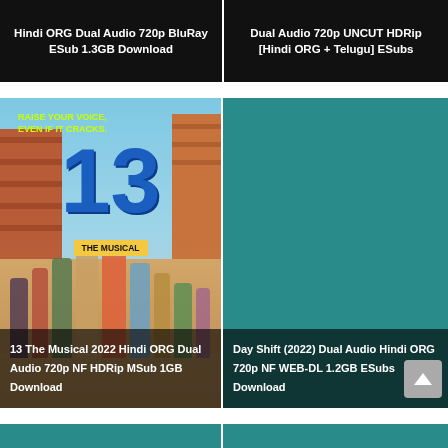Hindi ORG Dual Audio 720p BluRay ESub 1.3GB Download
Dual Audio 720p UNCUT HDRip [Hindi ORG + Telugu] ESubs
[Figure (photo): Movie poster for '13 The Musical 2022' showing group of teenagers on a street, with large blue '13' numeral and yellow 'THE MUSICAL' badge, slogan 'Raise Your Voice. Even If It Cracks.' in green text]
[Figure (illustration): Solid teal/dark cyan rectangle representing placeholder or thumbnail for 'Day Shift (2022)' movie]
13 The Musical 2022 Hindi ORG Dual Audio 720p NF HDRip MSub 1GB Download
Day Shift (2022) Dual Audio Hindi ORG 720p NF WEB-DL 1.2GB ESubs Download
[Figure (illustration): Partial teal rectangle at bottom left — bottom of page cut off]
[Figure (illustration): Partial teal rectangle at bottom right — bottom of page cut off]